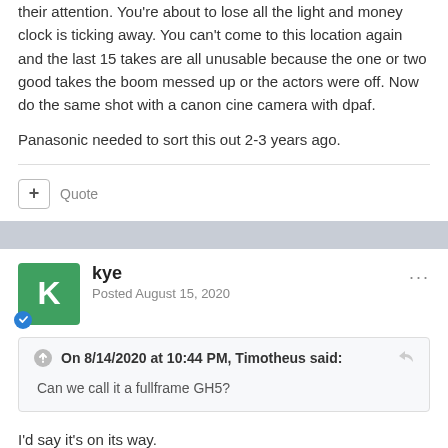their attention. You're about to lose all the light and money clock is ticking away. You can't come to this location again and the last 15 takes are all unusable because the one or two good takes the boom messed up or the actors were off. Now do the same shot with a canon cine camera with dpaf.
Panasonic needed to sort this out 2-3 years ago.
Quote
kye
Posted August 15, 2020
On 8/14/2020 at 10:44 PM, Timotheus said:
Can we call it a fullframe GH5?
I'd say it's on its way.